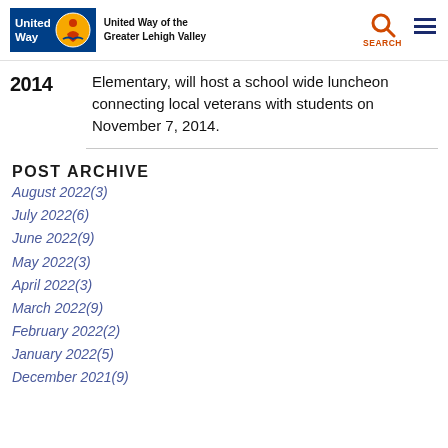United Way of the Greater Lehigh Valley
Elementary, will host a school wide luncheon connecting local veterans with students on November 7, 2014.
POST ARCHIVE
August 2022(3)
July 2022(6)
June 2022(9)
May 2022(3)
April 2022(3)
March 2022(9)
February 2022(2)
January 2022(5)
December 2021(9)